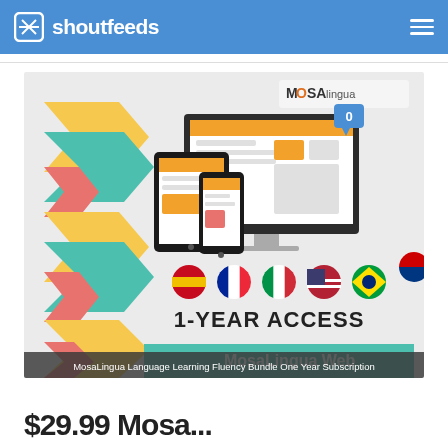shoutfeeds
[Figure (screenshot): MosaLingua Language Learning Fluency Bundle One Year Subscription promotional image showing devices (tablet, phone, desktop monitor) with MosaLingua web app, colorful chevron pattern on left, country flag icons, '1-YEAR ACCESS' and 'MosaLingua Web' text, with MosaLingua logo and cart icon at top right]
MosaLingua Language Learning Fluency Bundle One Year Subscription
$29.99 Mosa...